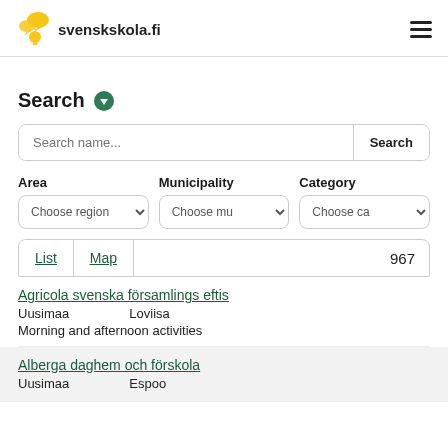svenskskola.fi
Search
Search name...
Area | Municipality | Category
Choose region | Choose municipality | Choose category
List | Map | 967
Agricola svenska församlings eftis
Uusimaa    Loviisa
Morning and afternoon activities
Alberga daghem och förskola
Uusimaa    Espoo